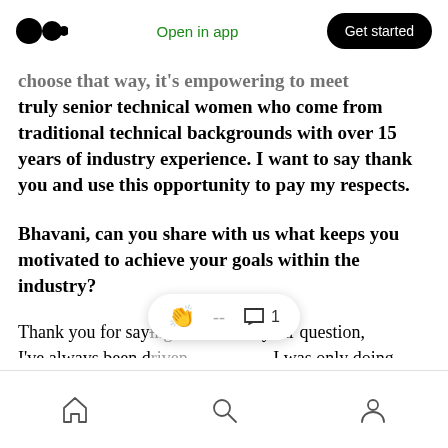Medium logo | Open in app | Get started
…choose that way, it's empowering to meet truly senior technical women who come from traditional technical backgrounds with over 15 years of industry experience. I want to say thank you and use this opportunity to pay my respects.
Bhavani, can you share with us what keeps you motivated to achieve your goals within the industry?
Thank you for saying that. As for your question, I've always been driven… I was only doing
Home | Search | Profile